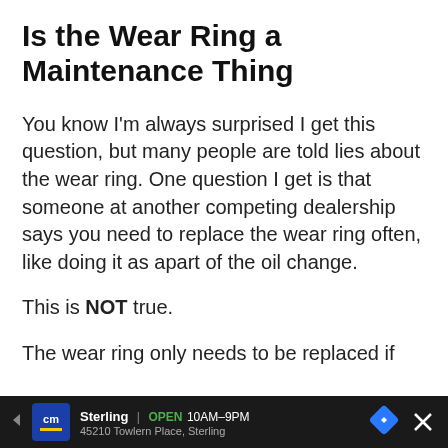Is the Wear Ring a Maintenance Thing
You know I'm always surprised I get this question, but many people are told lies about the wear ring. One question I get is that someone at another competing dealership says you need to replace the wear ring often, like doing it as apart of the oil change.
This is NOT true.
The wear ring only needs to be replaced if
[Figure (other): Advertisement bar at the bottom showing CarMax/CM logo, Sterling location OPEN 10AM-9PM, 45210 Towlern Place Sterling, navigation arrow icon, and close X button]